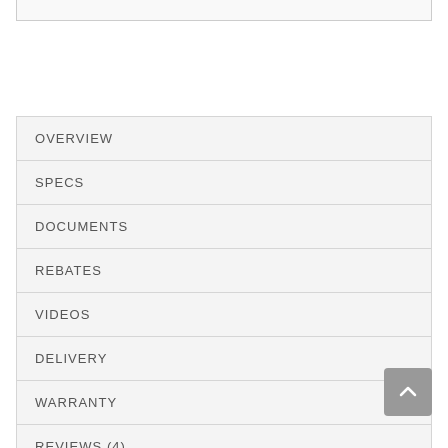OVERVIEW
SPECS
DOCUMENTS
REBATES
VIDEOS
DELIVERY
WARRANTY
REVIEWS (4)